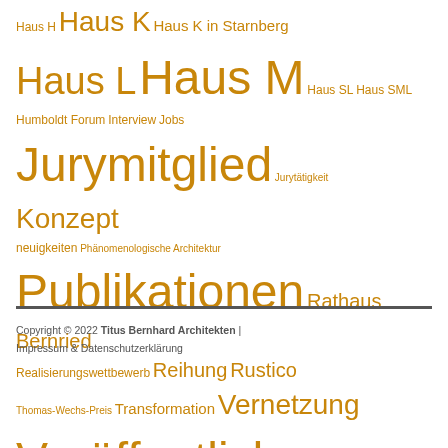Haus H Haus K Haus K in Starnberg Haus L Haus M Haus SL Haus SML Humboldt Forum Interview Jobs Jurymitglied Jurytätigkeit Konzept neuigkeiten Phänomenologische Architektur Publikationen Rathaus Bernried Realisierungswettbewerb Reihung Rustico Thomas-Wechs-Preis Transformation Vernetzung Veröffentlichung Veröffentlichungen Vortrag Wettbewerb Wohnen Wohnungsbauten
Copyright © 2022 Titus Bernhard Architekten | Impressum & Datenschutzerklärung